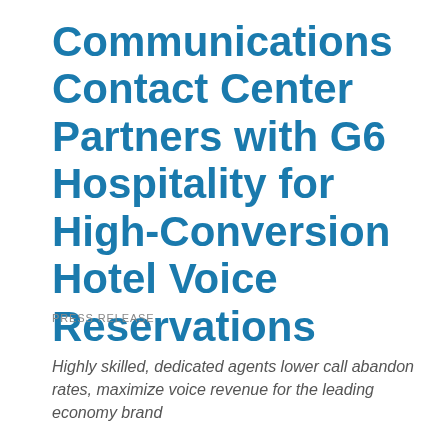Communications Contact Center Partners with G6 Hospitality for High-Conversion Hotel Voice Reservations
PRESS RELEASE
Highly skilled, dedicated agents lower call abandon rates, maximize voice revenue for the leading economy brand